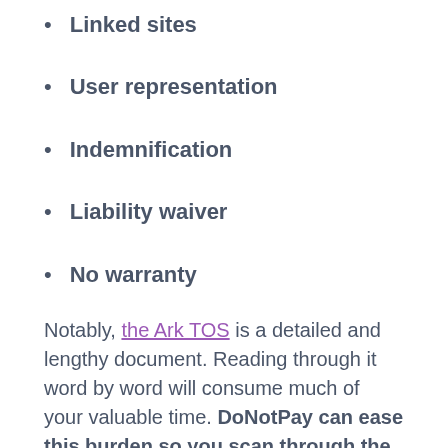Linked sites
User representation
Indemnification
Liability waiver
No warranty
Notably, the Ark TOS is a detailed and lengthy document. Reading through it word by word will consume much of your valuable time. DoNotPay can ease this burden so you scan through the paper quickly and identify possible violations that